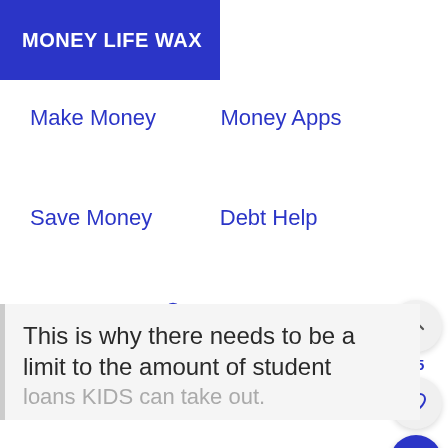MONEY LIFE WAX
Make Money
Money Apps
Save Money
Debt Help
Life Hacks
This is why there needs to be a limit to the amount of student loans KIDS can take out.